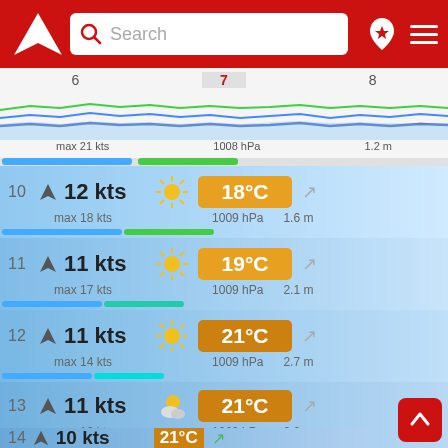[Figure (screenshot): App header with red background, white arrow logo on left, search box with magnifier icon, pin icon and hamburger menu on right]
[Figure (line-chart): Wind/wave chart showing lines over time with day markers 6, 7 (highlighted), 8. Info: max 21 kts, 1008 hPa, 1.2 m]
max 21 kts   1008 hPa   1.2 m
10   12 kts   max 18 kts   18°C   1009 hPa   1.6 m
11   11 kts   max 17 kts   19°C   1009 hPa   2.1 m
12   11 kts   max 14 kts   21°C   1009 hPa   2.7 m
13   11 kts   max 16 kts   21°C   1009 hPa   3.2 m
14   10 kts   21°C